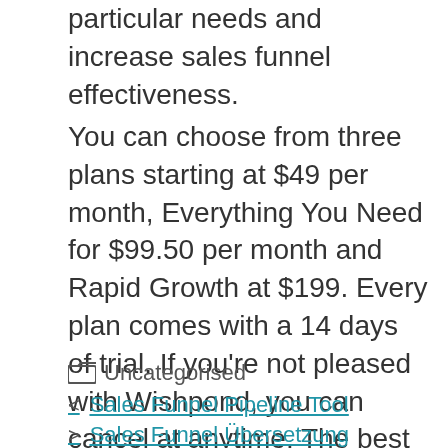particular needs and increase sales funnel effectiveness.
You can choose from three plans starting at $49 per month, Everything You Need for $99.50 per month and Rapid Growth at $199. Every plan comes with a 14 days of trial. If you’re not pleased with Wishpond, you can cancel at anytime. The best thing about Wishpond is that it’s fully integrated with Clickfunnels and comes with a complete suite of marketing tools to help your business grow.
Uncategorised
Sales Funnel Pipeline Tool
Sales Funnel Übersetzung